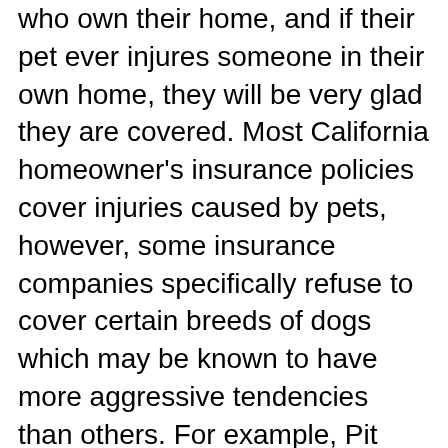who own their home, and if their pet ever injures someone in their own home, they will be very glad they are covered. Most California homeowner's insurance policies cover injuries caused by pets, however, some insurance companies specifically refuse to cover certain breeds of dogs which may be known to have more aggressive tendencies than others. For example, Pit Bulls and German Shepherds are often singled out by insurance companies, so owners of these dogs may not get the benefit of insurance coverage if their pet hurts someone. Homeowner's insurance may or may not cover expenses incurred from a dog bite that occurs away from the home, depending on the specifics of their policy.
If a dog bite occurs in a car, it is quite likely that the injuries will be covered by the owner's car insurance. A surprisingly high number of animal injuries occur in vehicles, or may involve animals in the back of a flatbed pickup truck or animals that bite people's hands if they